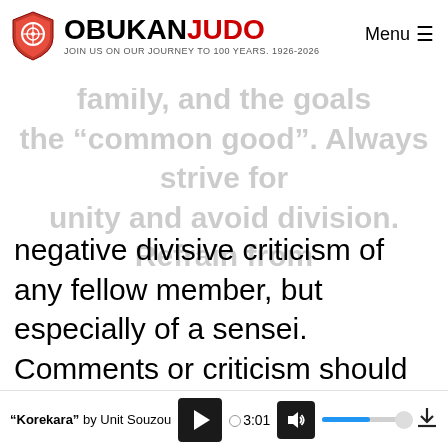OBUKAN JUDO - JOIN US ON OUR JOURNEY TO 100 YEARS. 1926-2026 | Menu
2. "Coexist in Harmony": The Dojo family, and the goals the "common good". Always strive for unity and avoid division. Refrain from negative divisive criticism of any fellow member, but especially of a sensei. Comments or criticism should be made directly to the person, never to others! Work to understand and appreciate the views of others. Harmony will be realized when we all invest in each other and work together, united by a
"Korekara" by Unit Souzou | 3:01